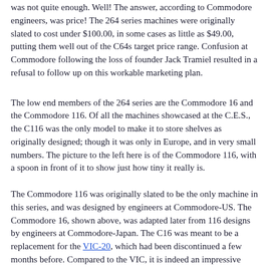was not quite enough. Well! The answer, according to Commodore engineers, was price! The 264 series machines were originally slated to cost under $100.00, in some cases as little as $49.00, putting them well out of the C64s target price range. Confusion at Commodore following the loss of founder Jack Tramiel resulted in a refusal to follow up on this workable marketing plan.
The low end members of the 264 series are the Commodore 16 and the Commodore 116. Of all the machines showcased at the C.E.S., the C116 was the only model to make it to store shelves as originally designed; though it was only in Europe, and in very small numbers. The picture to the left here is of the Commodore 116, with a spoon in front of it to show just how tiny it really is.
The Commodore 116 was originally slated to be the only machine in this series, and was designed by engineers at Commodore-US. The Commodore 16, shown above, was adapted later from 116 designs by engineers at Commodore-Japan. The C16 was meant to be a replacement for the VIC-20, which had been discontinued a few months before. Compared to the VIC, it is indeed an impressive upgrade. 16K to the VICs 3.5K, better video graphics, and full compatibility with VIC peripherals. Had Commodore kept their original plan of marketing these machines in the $49.00 price